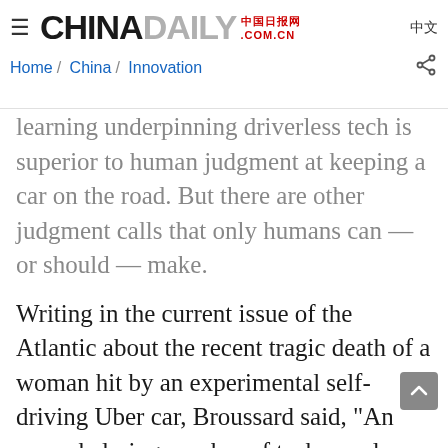China Daily 中国日报网 COM.CN | 中文 | Home / China / Innovation
learning underpinning driverless tech is superior to human judgment at keeping a car on the road. But there are other judgment calls that only humans can — or should — make.
Writing in the current issue of the Atlantic about the recent tragic death of a woman hit by an experimental self-driving Uber car, Broussard said, "An overwhelming number of tech people (and investors) seem to want self-driving cars so badly that they are willing to ignore evidence suggesting that self-driving cars could cause as much harm as good."
Again, the blind optimism she calls techochauvenism. a self-driving car death is an unavoidable feature, not a